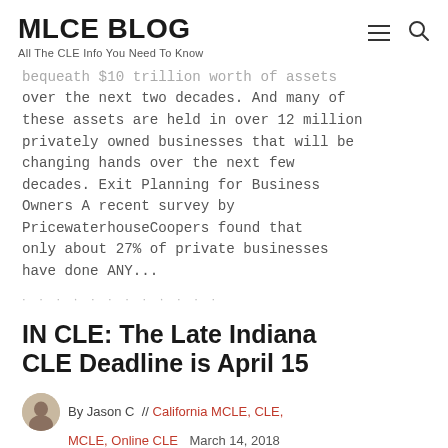MLCE BLOG
All The CLE Info You Need To Know
bequeath $10 trillion worth of assets over the next two decades. And many of these assets are held in over 12 million privately owned businesses that will be changing hands over the next few decades. Exit Planning for Business Owners A recent survey by PricewaterhouseCoopers found that only about 27% of private businesses have done ANY...
IN CLE: The Late Indiana CLE Deadline is April 15
By Jason C // California MCLE, CLE, MCLE, Online CLE   March 14, 2018